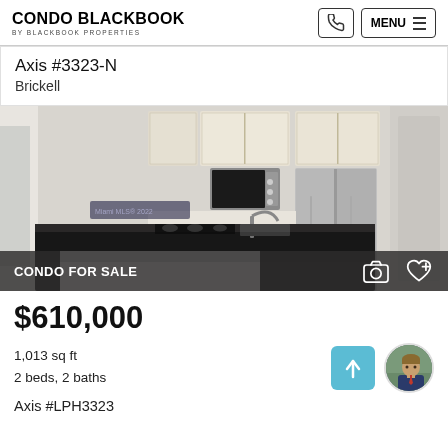CONDO BLACKBOOK BY BLACKBOOK PROPERTIES
Axis #3323-N
Brickell
[Figure (photo): Interior kitchen photo of Axis condo unit #3323-N showing dark granite island countertop, stainless steel refrigerator, microwave, and light wood cabinets. Watermark: Miami MLS® 2022. Overlay bar reads CONDO FOR SALE with camera and heart icons.]
$610,000
1,013 sq ft
2 beds, 2 baths
Axis #LPH3323